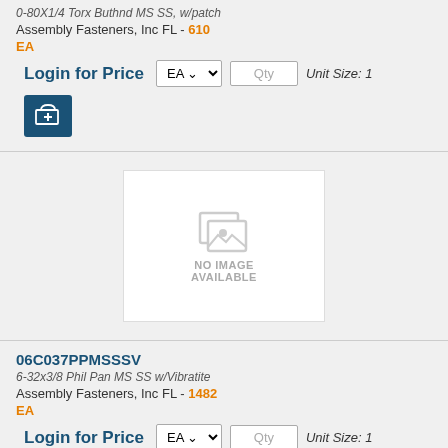0-80X1/4 Torx Buthnd MS SS, w/patch
Assembly Fasteners, Inc FL - 610
EA
Login for Price  EA  Qty  Unit Size: 1
[Figure (illustration): No image available placeholder with a grey image icon]
06C037PPMSSSV
6-32x3/8 Phil Pan MS SS w/Vibratite
Assembly Fasteners, Inc FL - 1482
EA
Login for Price  EA  Qty  Unit Size: 1